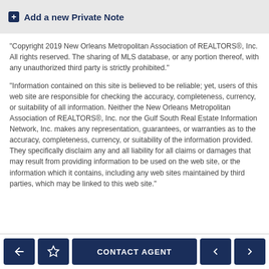Add a new Private Note
"Copyright 2019 New Orleans Metropolitan Association of REALTORS®, Inc. All rights reserved. The sharing of MLS database, or any portion thereof, with any unauthorized third party is strictly prohibited."
"Information contained on this site is believed to be reliable; yet, users of this web site are responsible for checking the accuracy, completeness, currency, or suitability of all information. Neither the New Orleans Metropolitan Association of REALTORS®, Inc. nor the Gulf South Real Estate Information Network, Inc. makes any representation, guarantees, or warranties as to the accuracy, completeness, currency, or suitability of the information provided. They specifically disclaim any and all liability for all claims or damages that may result from providing information to be used on the web site, or the information which it contains, including any web sites maintained by third parties, which may be linked to this web site."
Back | Favorite | CONTACT AGENT | Previous | Next